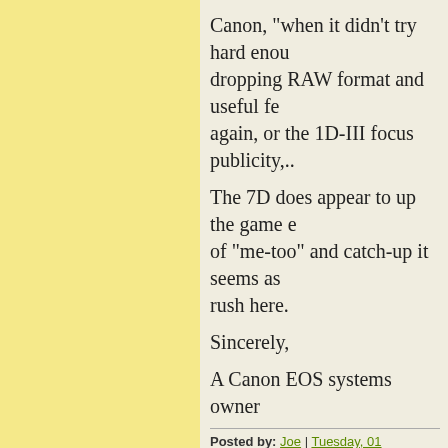Canon, "when it didn't try hard enou... dropping RAW format and useful fea... again, or the 1D-III focus publicity,...
The 7D does appear to up the game e... of "me-too" and catch-up it seems as... rush here.
Sincerely,
A Canon EOS systems owner
Posted by: Joe | Tuesday, 01 September 2009 at 06:49
As a bird photographer I'd much rath... C sensor than a bigger more expensi... I'd go for the 7D. It hurts to say that... gear fail on me though!
Posted by: Murray L | Tuesday, 01 September 2009 at